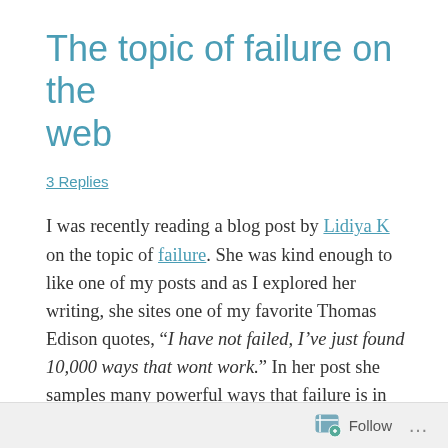The topic of failure on the web
3 Replies
I was recently reading a blog post by Lidiya K on the topic of failure. She was kind enough to like one of my posts and as I explored her writing, she sites one of my favorite Thomas Edison quotes, “I have not failed, I’ve just found 10,000 ways that wont work.” In her post she samples many powerful ways that failure is in fact a positive.
In creating new digital interactions, campaigns,
Follow ...